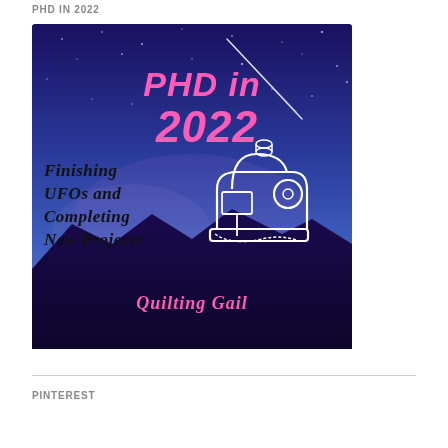PHD IN 2022
[Figure (illustration): Promotional image with a night sky background (blue/purple tones with stars). Large pink bold italic text reads 'PHD in 2022'. Black handwritten-style text reads 'Finishing UFOs and Completing New Projects'. A white line drawing of a vintage sewing machine is centered-right. A shooting star or light streak crosses the sky. Pink cursive text at the bottom reads 'Quilting Gail'. Dark mountain silhouette at the bottom.]
PINTEREST